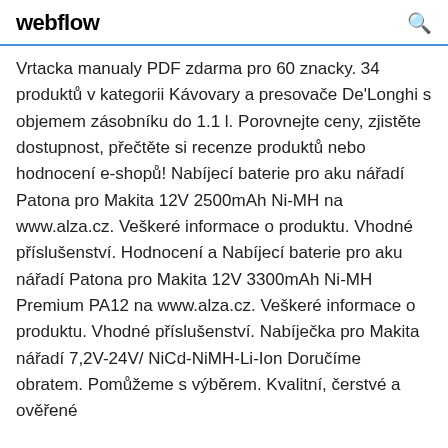webflow
Vrtacka manualy PDF zdarma pro 60 znacky. 34 produktů v kategorii Kávovary a presovače De'Longhi s objemem zásobníku do 1.1 l. Porovnejte ceny, zjistěte dostupnost, přečtěte si recenze produktů nebo hodnocení e-shopů! Nabíjecí baterie pro aku nářadí Patona pro Makita 12V 2500mAh Ni-MH na www.alza.cz. Veškeré informace o produktu. Vhodné příslušenství. Hodnocení a Nabíjecí baterie pro aku nářadí Patona pro Makita 12V 3300mAh Ni-MH Premium PA12 na www.alza.cz. Veškeré informace o produktu. Vhodné příslušenství. Nabíječka pro Makita nářadí 7,2V-24V/ NiCd-NiMH-Li-Ion Doručíme obratem. Pomůžeme s výběrem. Kvalitní, čerstvé a ověřené